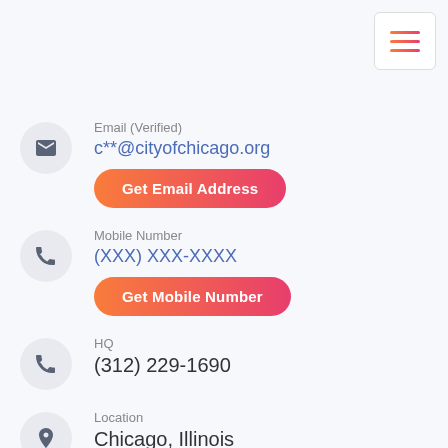[Figure (other): Hamburger menu icon button in top-right corner]
Email (Verified)
c**@cityofchicago.org
Get Email Address
Mobile Number
(XXX) XXX-XXXX
Get Mobile Number
HQ
(312) 229-1690
Location
Chicago, Illinois
Company
City of Chicago